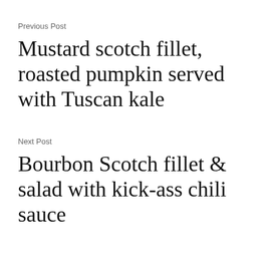Previous Post
Mustard scotch fillet, roasted pumpkin served with Tuscan kale
Next Post
Bourbon Scotch fillet & salad with kick-ass chili sauce
Advertisements
[Figure (logo): P2 logo: black square with white H-like icon and P2 text]
Advertisements
[Figure (infographic): DuckDuckGo advertisement banner: orange background left side with text 'Search, browse, and email with more privacy. All in One Free App' and DuckDuckGo logo on dark right side]